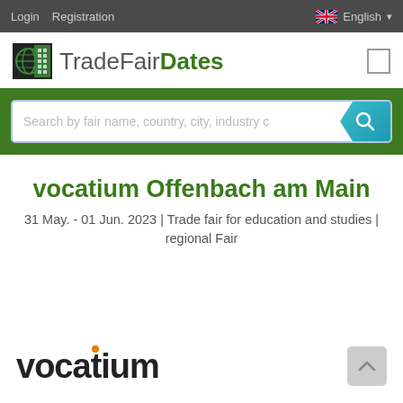Login  Registration  English
[Figure (logo): TradeFairDates logo with globe icon and green/black text]
[Figure (screenshot): Search box with placeholder text: Search by fair name, country, city, industry c, and a teal search button]
vocatium Offenbach am Main
31 May. - 01 Jun. 2023 | Trade fair for education and studies | regional Fair
[Figure (logo): vocatium logo in bold black text with orange dot above the letter i]